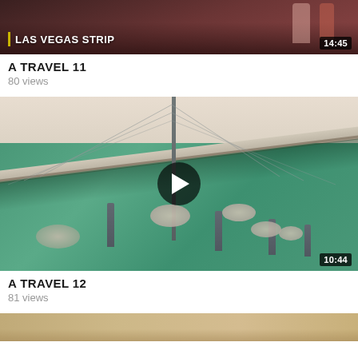[Figure (screenshot): Video thumbnail showing Las Vegas Strip with people walking, label overlay reading LAS VEGAS STRIP, duration badge 14:45]
A TRAVEL 11
80 views
[Figure (screenshot): Video thumbnail showing aerial view of a long cable-stayed bridge over teal-green water with circular rock formations, play button overlay, duration badge 10:44]
A TRAVEL 12
81 views
[Figure (screenshot): Partial video thumbnail at bottom of page showing a sandy/earthy scene]